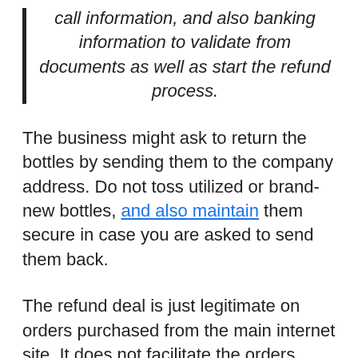call information, and also banking information to validate from documents as well as start the refund process.
The business might ask to return the bottles by sending them to the company address. Do not toss utilized or brand-new bottles, and also maintain them secure in case you are asked to send them back.
The refund deal is just legitimate on orders purchased from the main internet site. It does not facilitate the orders made via unauthorized sources. Right here are the call details of the firm is leanbiome fda-approved.
The moment to apply for the reimbursements